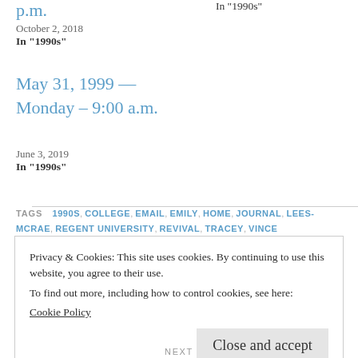p.m.
In "1990s"
October 2, 2018
In "1990s"
May 31, 1999 — Monday — 9:00 a.m.
June 3, 2019
In "1990s"
TAGS  1990S, COLLEGE, EMAIL, EMILY, HOME, JOURNAL, LEES-MCRAE, REGENT UNIVERSITY, REVIVAL, TRACEY, VINCE
Privacy & Cookies: This site uses cookies. By continuing to use this website, you agree to their use.
To find out more, including how to control cookies, see here:
Cookie Policy
Close and accept
NEXT